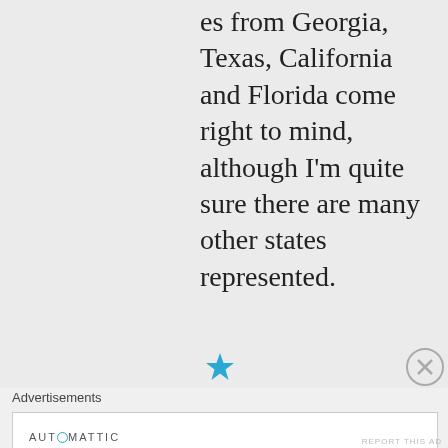es from Georgia, Texas, California and Florida come right to mind, although I'm quite sure there are many other states represented.
[Figure (other): A blue star icon rating element]
Advertisements
AUT⊙MATTIC
Build a better web and a better world.
[Figure (other): Close/dismiss button (X in circle)]
REPORT THIS AD